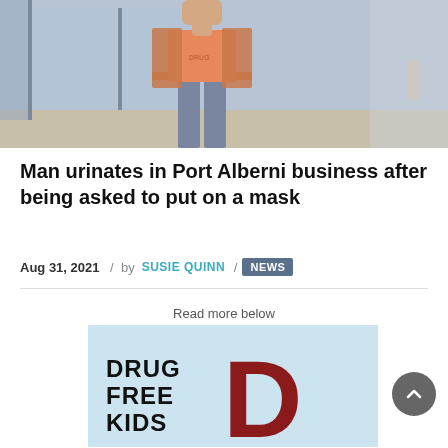[Figure (photo): Surveillance camera still image of a person wearing a plaid shirt over an orange t-shirt and jeans, standing in what appears to be a retail store entrance]
Man urinates in Port Alberni business after being asked to put on a mask
Aug 31, 2021 / by SUSIE QUINN / NEWS
Read more below
[Figure (advertisement): Drug Free Kids advertisement with large dark red D letter on light blue background]